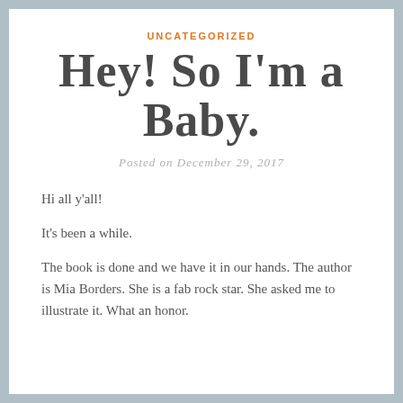UNCATEGORIZED
Hey! So I'm a Baby.
Posted on December 29, 2017
Hi all y'all!
It's been a while.
The book is done and we have it in our hands. The author is Mia Borders. She is a fab rock star. She asked me to illustrate it. What an honor.